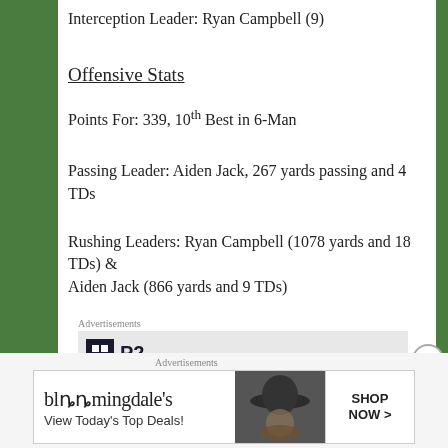Interception Leader: Ryan Campbell (9)
Offensive Stats
Points For: 339, 10th Best in 6-Man
Passing Leader: Aiden Jack, 267 yards passing and 4 TDs
Rushing Leaders: Ryan Campbell (1078 yards and 18 TDs) & Aiden Jack (866 yards and 9 TDs)
Advertisements
[Figure (other): P2 advertisement logo with partial text below]
Advertisements
[Figure (other): Bloomingdales advertisement: 'View Today's Top Deals!' with SHOP NOW button and woman in hat image]